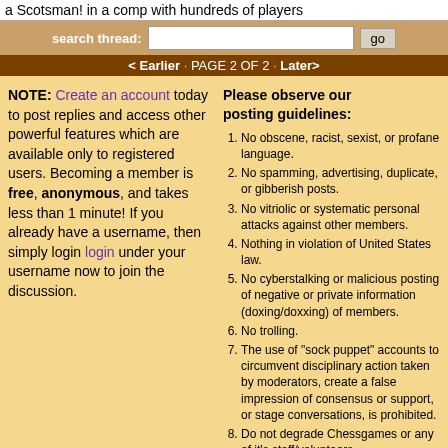a Scotsman! in a comp with hundreds of players
search thread: [input] go
< Earlier · PAGE 2 OF 2 · Later>
NOTE: Create an account today to post replies and access other powerful features which are available only to registered users. Becoming a member is free, anonymous, and takes less than 1 minute! If you already have a username, then simply login login under your username now to join the discussion.
Please observe our posting guidelines:
No obscene, racist, sexist, or profane language.
No spamming, advertising, duplicate, or gibberish posts.
No vitriolic or systematic personal attacks against other members.
Nothing in violation of United States law.
No cyberstalking or malicious posting of negative or private information (doxing/doxxing) of members.
No trolling.
The use of "sock puppet" accounts to circumvent disciplinary action taken by moderators, create a false impression of consensus or support, or stage conversations, is prohibited.
Do not degrade Chessgames or any of it's staff/volunteers.
Please try to maintain a semblance of civility at all times.
See something that violates our rules? Blow the whistle